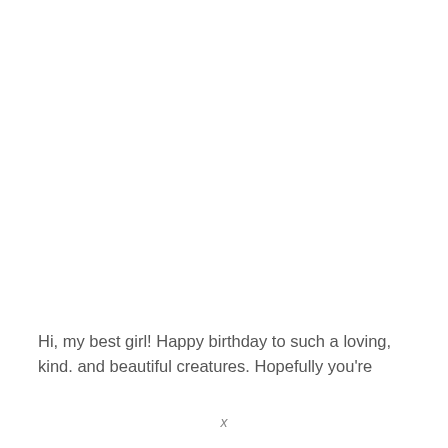Hi, my best girl! Happy birthday to such a loving, kind. and beautiful creatures. Hopefully you're
x